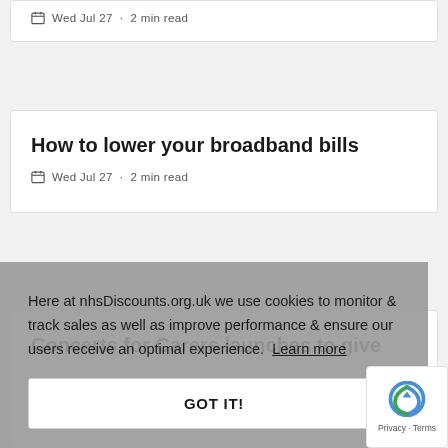Wed Jul 27 · 2 min read
How to lower your broadband bills
Wed Jul 27 · 2 min read
Concerts for Carers launches to give...
Here at nhsDiscounts.org.uk we use cookies to monitor & track sales as well as improve performance & ensure our users receive an optimal experience. Learn more
GOT IT!